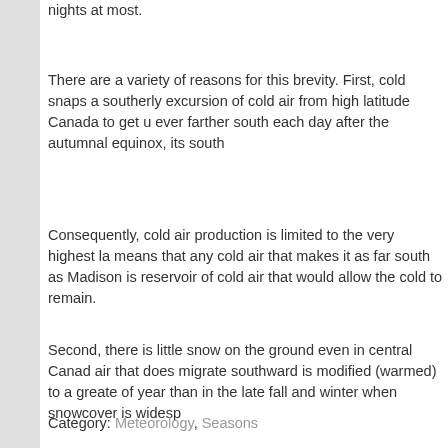nights at most.
There are a variety of reasons for this brevity. First, cold snaps a southerly excursion of cold air from high latitude Canada to get u ever farther south each day after the autumnal equinox, its south
Consequently, cold air production is limited to the very highest la means that any cold air that makes it as far south as Madison is reservoir of cold air that would allow the cold to remain.
Second, there is little snow on the ground even in central Canad air that does migrate southward is modified (warmed) to a greate of year than in the late fall and winter when snowcover is widesp
Third, the lack of snow on the ground in Madison itself limits the true in the wintertime. Overnight cooling over a snowfield can rei render it longer lasting as a result. So, if you were complaining a we are still in October and much more likely to experience a quic
Category: Meteorology, Seasons